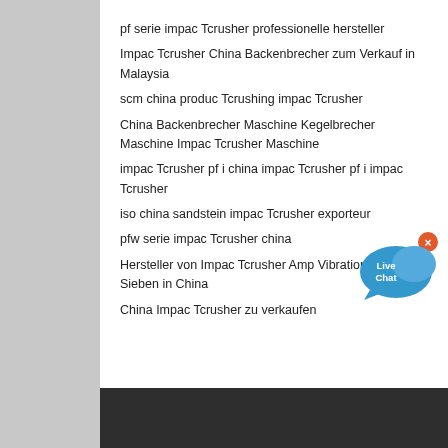pf serie impac Tcrusher professionelle hersteller
Impac Tcrusher China Backenbrecher zum Verkauf in Malaysia
scm china produc Tcrushing impac Tcrusher
China Backenbrecher Maschine Kegelbrecher Maschine Impac Tcrusher Maschine
impac Tcrusher pf i china impac Tcrusher pf i impac Tcrusher
iso china sandstein impac Tcrusher exporteur
pfw serie impac Tcrusher china
Hersteller von Impac Tcrusher Amp Vibrationssieben Sieben in China
China Impac Tcrusher zu verkaufen
[Figure (illustration): Live Chat button with speech bubble icon in blue/teal color with a close X button]